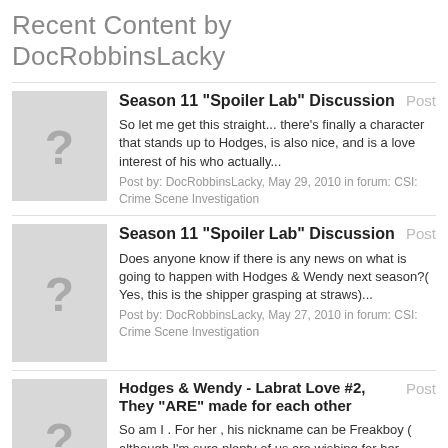Recent Content by DocRobbinsLacky
Season 11 "Spoiler Lab" Discussion | Post | So let me get this straight... there's finally a character that stands up to Hodges, is also nice, and is a love interest of his who actually... | Post by: DocRobbinsLacky, May 29, 2010 in forum: CSI: Crime Scene Investigation
Season 11 "Spoiler Lab" Discussion | Post | Does anyone know if there is any news on what is going to happen with Hodges & Wendy next season?( Yes, this is the shipper grasping at straws)... | Post by: DocRobbinsLacky, May 27, 2010 in forum: CSI: Crime Scene Investigation
Hodges & Wendy - Labrat Love #2, They "ARE" made for each other | Post | So am I . For her , his nickname can be Freakboy ( although I'm sure plenty of us are wishing for her nickname to be honey, babe, or some other... | Post by: DocRobbinsLacky, May 27, 2010 in forum: Shipper Central